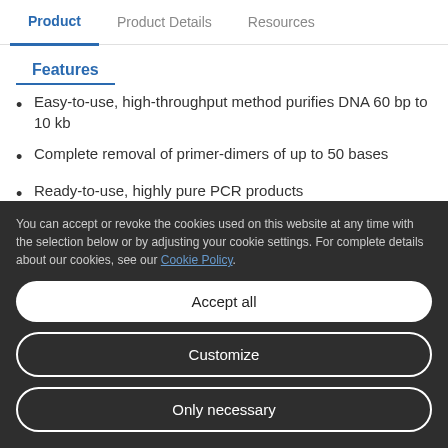Product | Product Details | Resources
Features
Easy-to-use, high-throughput method purifies DNA 60 bp to 10 kb
Complete removal of primer-dimers of up to 50 bases
Ready-to-use, highly pure PCR products
You can accept or revoke the cookies used on this website at any time with the selection below or by adjusting your cookie settings. For complete details about our cookies, see our Cookie Policy.
Accept all
Customize
Only necessary